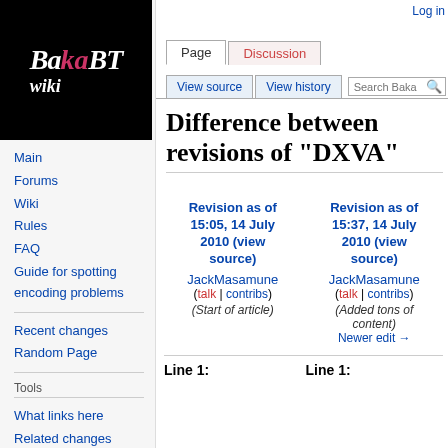[Figure (logo): BakaBT Wiki logo — black background with stylized BakaBT wiki text]
Main
Forums
Wiki
Rules
FAQ
Guide for spotting encoding problems
Recent changes
Random Page
Tools
What links here
Related changes
Log in
Page  Discussion  View source  View history  Search Baka
Difference between revisions of "DXVA"
Revision as of 15:05, 14 July 2010 (view source)
JackMasamune (talk | contribs)
(Start of article)
Revision as of 15:37, 14 July 2010 (view source)
JackMasamune (talk | contribs)
(Added tons of content)
Newer edit →
Line 1:
Line 1: